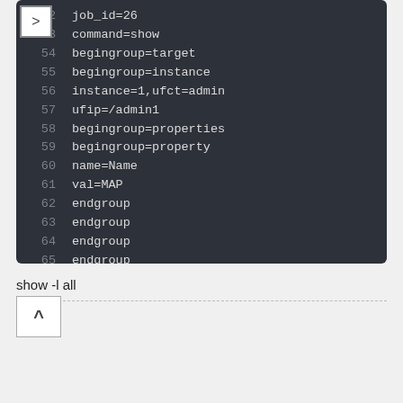[Figure (screenshot): Code editor screenshot showing lines 52-68 of a configuration/script file with dark background. Lines include job_id=26, command=show, begingroup=target, begingroup=instance, instance=1,ufct=admin, ufip=/admin1, begingroup=properties, begingroup=property, name=Name, val=MAP, endgroup (x4), endoutput, blank line, and ->]
show -l all